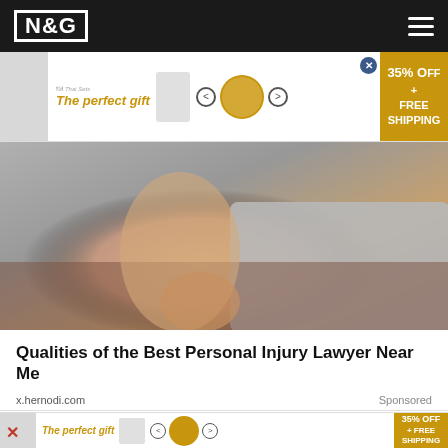N&G
[Figure (photo): Advertisement banner: 'The perfect gift' with product imagery, navigation arrows, food bowl, and gold badge showing 35% OFF + FREE SHIPPING with close button]
[Figure (photo): Close-up photo of a person holding their ankle/foot area near a grey couch, suggesting personal injury]
Qualities of the Best Personal Injury Lawyer Near Me
x.hernodi.com
Sponsored
[Figure (photo): Partial photo of blurred background with close X button on right side]
[Figure (infographic): Bottom advertisement banner: 'The perfect gift' with 35% OFF + FREE SHIPPING gold badge]